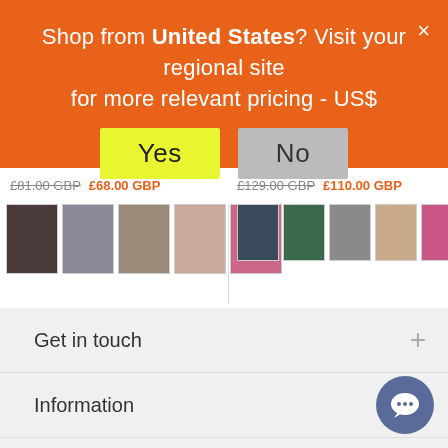Shop from United States? Visit your regional site for more relevant pricing - US$
£81.00 GBP £68.00 GBP
£129.00 GBP £110.00 GBP
[Figure (screenshot): Product thumbnail images - left group of 5 dress thumbnails]
[Figure (screenshot): Product thumbnail images - right group of 6 dress thumbnails plus black swatch]
Get in touch
Information
Services
Useful links
Silk Guide